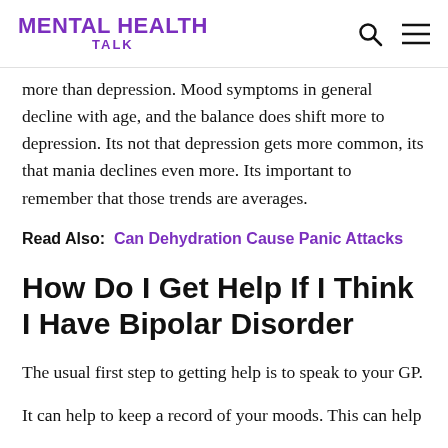MENTAL HEALTH TALK
more than depression. Mood symptoms in general decline with age, and the balance does shift more to depression. Its not that depression gets more common, its that mania declines even more. Its important to remember that those trends are averages.
Read Also: Can Dehydration Cause Panic Attacks
How Do I Get Help If I Think I Have Bipolar Disorder
The usual first step to getting help is to speak to your GP.
It can help to keep a record of your moods. This can help your doctor to understand your experience of Bipol…